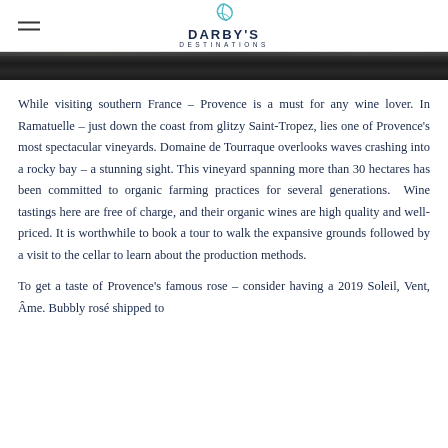DARBY'S DESTINATIONS
[Figure (photo): Partial view of a dark outdoor/nature photograph, cropped at the top of the content area]
While visiting southern France – Provence is a must for any wine lover. In Ramatuelle – just down the coast from glitzy Saint-Tropez, lies one of Provence's most spectacular vineyards. Domaine de Tourraque overlooks waves crashing into a rocky bay – a stunning sight. This vineyard spanning more than 30 hectares has been committed to organic farming practices for several generations. Wine tastings here are free of charge, and their organic wines are high quality and well-priced. It is worthwhile to book a tour to walk the expansive grounds followed by a visit to the cellar to learn about the production methods.
To get a taste of Provence's famous rose – consider having a 2019 Soleil, Vent, Âme. Bubbly rosé shipped to